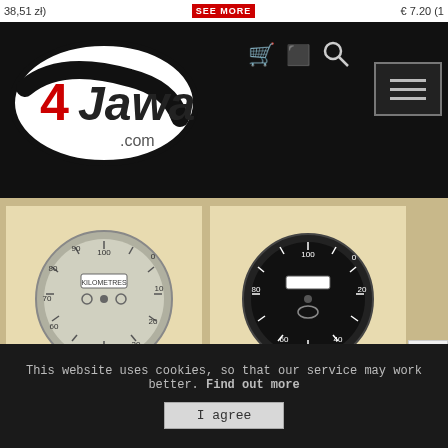[Figure (logo): 4Jawa.com oval logo with red and black text on white oval background]
[Figure (photo): Silver-black speedometer plate dial 0-100km/h, AP-CZ model]
Speedometer plate 0-100km/h, silver-black, AP-ČZ, CZ 150 C
€ 7.20 (182.51 Kč / S 7.34 /
[Figure (photo): Black-white speedometer plate dial 0-100km/h, VDO model]
Speedometer plate 0-100km/b, black-white, VDO, CZ 125/150 B, C, T, 501
This website uses cookies, so that our service may work better. Find out more
I agree